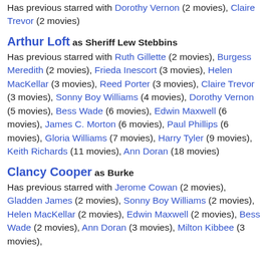Has previous starred with Dorothy Vernon (2 movies), Claire Trevor (2 movies)
Arthur Loft as Sheriff Lew Stebbins
Has previous starred with Ruth Gillette (2 movies), Burgess Meredith (2 movies), Frieda Inescort (3 movies), Helen MacKellar (3 movies), Reed Porter (3 movies), Claire Trevor (3 movies), Sonny Boy Williams (4 movies), Dorothy Vernon (5 movies), Bess Wade (6 movies), Edwin Maxwell (6 movies), James C. Morton (6 movies), Paul Phillips (6 movies), Gloria Williams (7 movies), Harry Tyler (9 movies), Keith Richards (11 movies), Ann Doran (18 movies)
Clancy Cooper as Burke
Has previous starred with Jerome Cowan (2 movies), Gladden James (2 movies), Sonny Boy Williams (2 movies), Helen MacKellar (2 movies), Edwin Maxwell (2 movies), Bess Wade (2 movies), Ann Doran (3 movies), Milton Kibbee (3 movies),